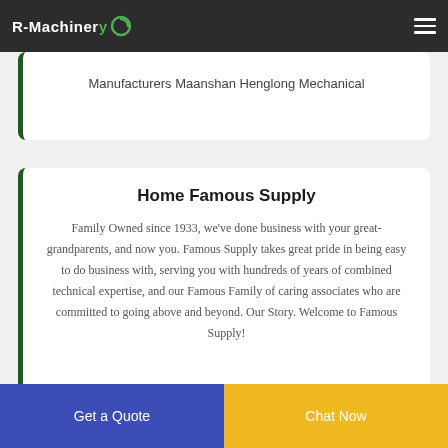R-Machinery
Manufacturers Maanshan Henglong Mechanical
Home Famous Supply
Family Owned since 1933, we've done business with your great-grandparents, and now you. Famous Supply takes great pride in being easy to do business with, serving you with hundreds of years of combined technical expertise, and our Famous Family of caring associates who are committed to going above and beyond. Our Story. Welcome to Famous Supply!
Get a Quote
Chat Now